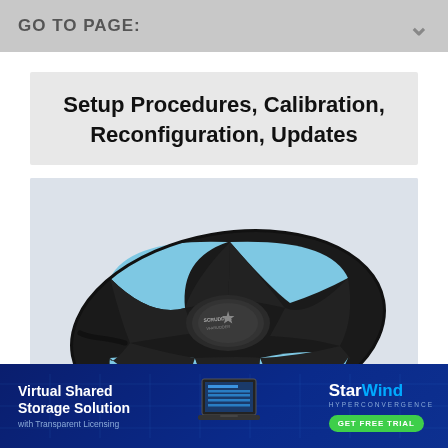GO TO PAGE:
Setup Procedures, Calibration, Reconfiguration, Updates
[Figure (photo): Circular spinning/rotation platform device (rudder pedal or turntable) with black body and light blue panels, Scrudder branding visible in center, with cable attached, photographed on white/gray background at an angle.]
[Figure (infographic): StarWind advertisement banner: 'Virtual Shared Storage Solution with Transparent Licensing' with laptop graphic and StarWind Hyperconvergence logo and GET FREE TRIAL green button.]